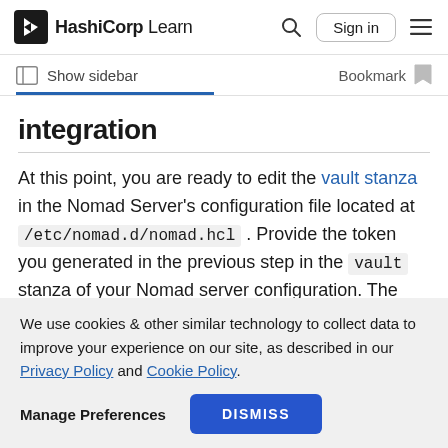HashiCorp Learn — Search | Sign in | Menu
Show sidebar    Bookmark
integration
At this point, you are ready to edit the vault stanza in the Nomad Server's configuration file located at /etc/nomad.d/nomad.hcl . Provide the token you generated in the previous step in the vault stanza of your Nomad server configuration. The
We use cookies & other similar technology to collect data to improve your experience on our site, as described in our Privacy Policy and Cookie Policy.
Manage Preferences    DISMISS